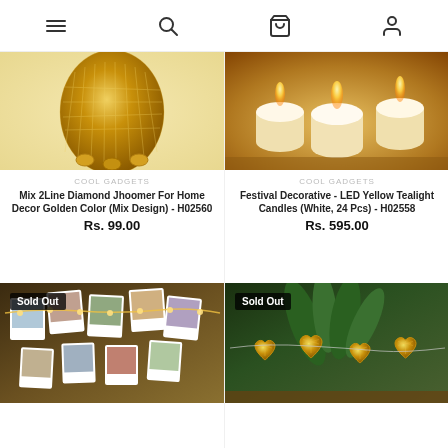Navigation icons: menu, search, cart, profile
[Figure (photo): Gold diamond jhoomer/vase product photo]
COOL GADGETS
Mix 2Line Diamond Jhoomer For Home Decor Golden Color (Mix Design) - H02560
Rs. 99.00
[Figure (photo): LED yellow tealight candles (white) product photo]
COOL GADGETS
Festival Decorative - LED Yellow Tealight Candles (White, 24 Pcs) - H02558
Rs. 595.00
[Figure (photo): Photo clip string lights product photo with Sold Out badge]
[Figure (photo): Gold heart string lights product photo with Sold Out badge]